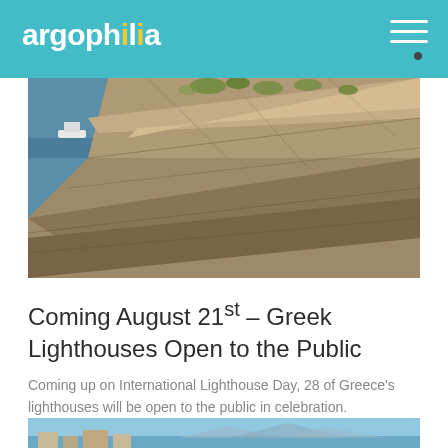argophilia
[Figure (photo): Rocky cliff face with layered stone formations; blue sea visible on the left with a white ship in the distance; sparse vegetation at the top of the cliff.]
Coming August 21st – Greek Lighthouses Open to the Public
Coming up on International Lighthouse Day, 28 of Greece's lighthouses will be open to the public in celebration.
[Figure (photo): Bottom of a second photo showing blue sky, a hillside village with white and stone buildings, and distant mountains across a body of water.]